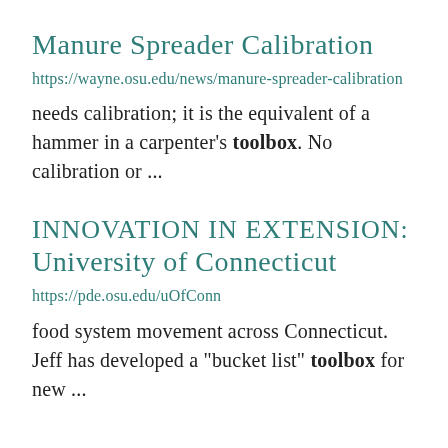Manure Spreader Calibration
https://wayne.osu.edu/news/manure-spreader-calibration
needs calibration; it is the equivalent of a hammer in a carpenter’s toolbox.  No calibration or ...
INNOVATION IN EXTENSION: University of Connecticut
https://pde.osu.edu/uOfConn
food system movement across Connecticut. Jeff has developed a "bucket list" toolbox for new ...